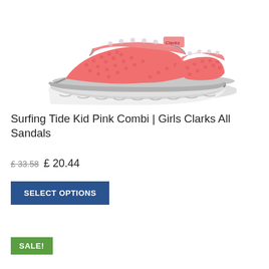[Figure (photo): Pink and grey Clarks children's sandal shown in side profile view. The sandal features coral/pink mesh upper with polka dot pattern, velcro straps with Clarks branding, and a white/grey chunky sole.]
Surfing Tide Kid Pink Combi | Girls Clarks All Sandals
£ 33.58 £ 20.44
SELECT OPTIONS
SALE!